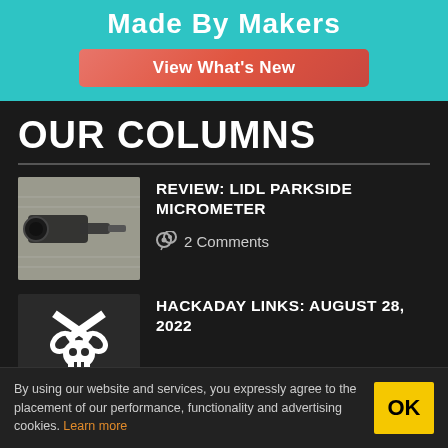[Figure (infographic): Advertisement banner with teal background showing 'Made By Makers' text and a red 'View What's New' button]
OUR COLUMNS
[Figure (photo): Photo of a micrometer measuring tool on technical drawings]
REVIEW: LIDL PARKSIDE MICROMETER
2 Comments
[Figure (logo): Hackaday skull logo with two wrenches on dark background]
HACKADAY LINKS: AUGUST 28, 2022
By using our website and services, you expressly agree to the placement of our performance, functionality and advertising cookies. Learn more